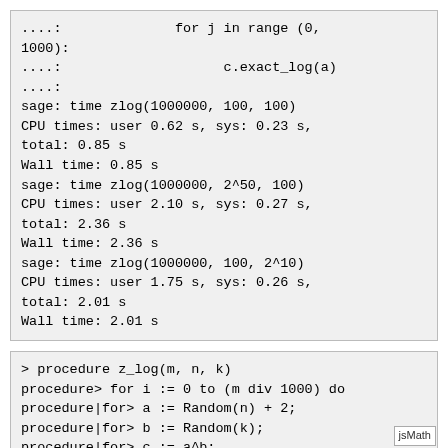....:              for j in range (0,
1000):
....:                    c.exact_log(a)
....:
sage: time zlog(1000000, 100, 100)
CPU times: user 0.62 s, sys: 0.23 s,
total: 0.85 s
Wall time: 0.85 s
sage: time zlog(1000000, 2^50, 100)
CPU times: user 2.10 s, sys: 0.27 s,
total: 2.36 s
Wall time: 2.36 s
sage: time zlog(1000000, 100, 2^10)
CPU times: user 1.75 s, sys: 0.26 s,
total: 2.01 s
Wall time: 2.01 s
> procedure z_log(m, n, k)
procedure> for i := 0 to (m div 1000) do
procedure|for> a := Random(n) + 2;
procedure|for> b := Random(k);
procedure|for> c := a^b;
procedure|for> for j := 1 to 1000 do
procedure|for|for> d := Ilog(a, c);